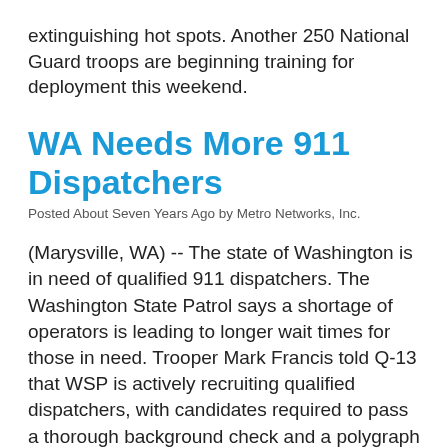extinguishing hot spots.  Another 250 National Guard troops are beginning training for deployment this weekend.
WA Needs More 911 Dispatchers
Posted About Seven Years Ago by Metro Networks, Inc.
(Marysville, WA)  --  The state of Washington is in need of qualified 911 dispatchers.  The Washington State Patrol says a shortage of operators is leading to longer wait times for those in need.  Trooper Mark Francis told Q-13 that WSP is actively recruiting qualified dispatchers, with candidates required to pass a thorough background check and a polygraph test.  Those interested in finding out more can log on to wsp.wa.gov/employment.